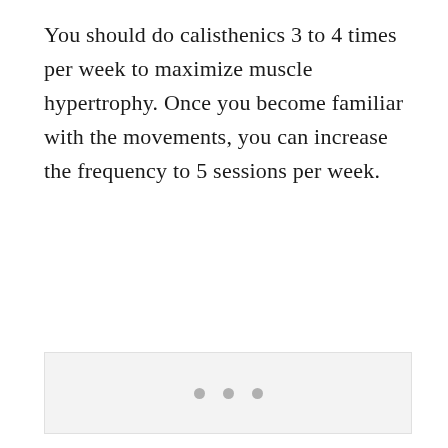You should do calisthenics 3 to 4 times per week to maximize muscle hypertrophy. Once you become familiar with the movements, you can increase the frequency to 5 sessions per week.
[Figure (other): A light gray placeholder box with three gray dots centered near the bottom, indicating a loading or placeholder image area.]